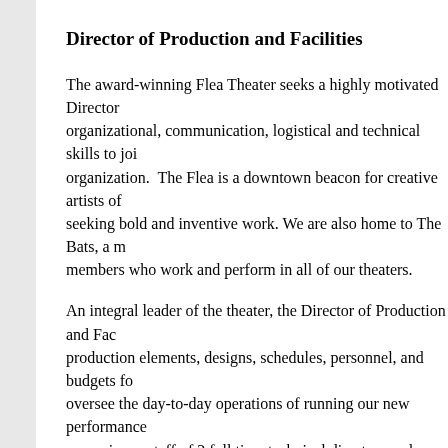Director of Production and Facilities
The award-winning Flea Theater seeks a highly motivated Director of organizational, communication, logistical and technical skills to join our organization. The Flea is a downtown beacon for creative artists of all seeking bold and inventive work. We are also home to The Bats, a r members who work and perform in all of our theaters.
An integral leader of the theater, the Director of Production and Fac production elements, designs, schedules, personnel, and budgets for oversee the day-to-day operations of running our new performance supervises a staff of 2 full time technical directors and a part time c hand with the General Manager Associate and Company Manager a
Position Type: Full Time, Permanent
Eligibility: The ideal candidate will have a minimum of 2+ y theater/performing arts and/or facilities maintenance as well a with limited resources. We anticipate a candidate with strong ability to plan and prioritize work effectively and to interact v Experience and contacts in out-sourcing contractors and profe candidate will have a passion for contemporary theater. Sala